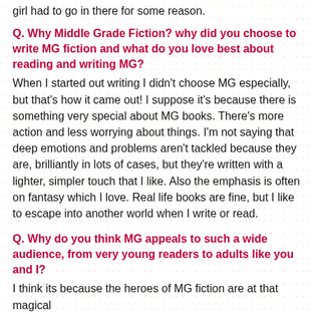girl had to go in there for some reason.
Q. Why Middle Grade Fiction? why did you choose to write MG fiction and what do you love best about reading and writing MG?
When I started out writing I didn't choose MG especially, but that's how it came out! I suppose it's because there is something very special about MG books. There's more action and less worrying about things. I'm not saying that deep emotions and problems aren't tackled because they are, brilliantly in lots of cases, but they're written with a lighter, simpler touch that I like. Also the emphasis is often on fantasy which I love. Real life books are fine, but I like to escape into another world when I write or read.
Q. Why do you think MG appeals to such a wide audience, from very young readers to adults like you and I?
I think its because the heroes of MG fiction are at that magical